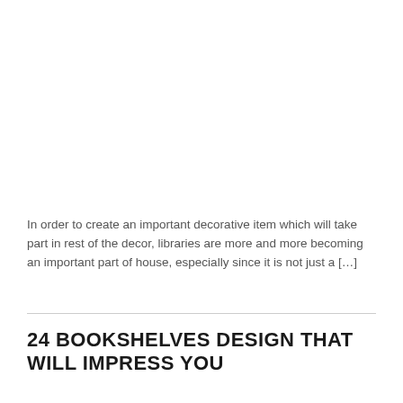In order to create an important decorative item which will take part in rest of the decor, libraries are more and more becoming an important part of house, especially since it is not just a […]
24 BOOKSHELVES DESIGN THAT WILL IMPRESS YOU